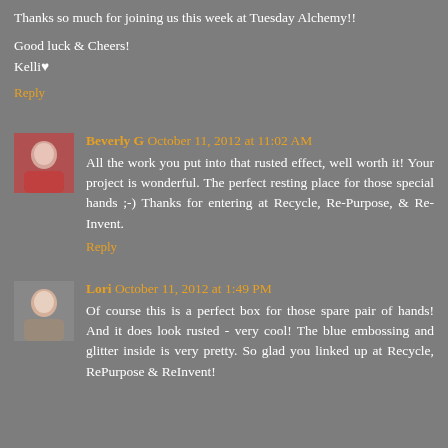Thanks so much for joining us this week at Tuesday Alchemy!!
Good luck & Cheers!
Kelli♥
Reply
Beverly G October 11, 2012 at 11:02 AM
All the work you put into that rusted effect, well worth it! Your project is wonderful. The perfect resting place for those special hands ;-) Thanks for entering at Recycle, Re-Purpose, & Re-Invent.
Reply
Lori October 11, 2012 at 1:49 PM
Of course this is a perfect box for those spare pair of hands! And it does look rusted - very cool! The blue embossing and glitter inside is very pretty. So glad you linked up at Recycle, RePurpose & ReInvent!